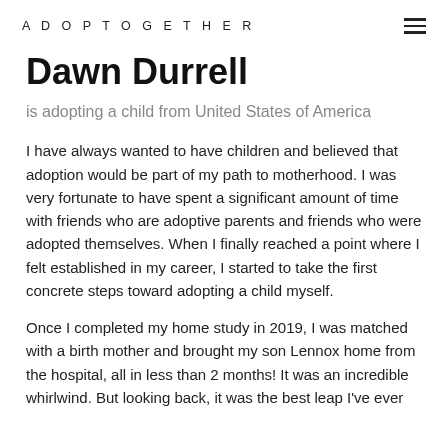ADOPTOGETHER
Dawn Durrell
is adopting a child from United States of America
I have always wanted to have children and believed that adoption would be part of my path to motherhood. I was very fortunate to have spent a significant amount of time with friends who are adoptive parents and friends who were adopted themselves. When I finally reached a point where I felt established in my career, I started to take the first concrete steps toward adopting a child myself.
Once I completed my home study in 2019, I was matched with a birth mother and brought my son Lennox home from the hospital, all in less than 2 months! It was an incredible whirlwind. But looking back, it was the best leap I've ever